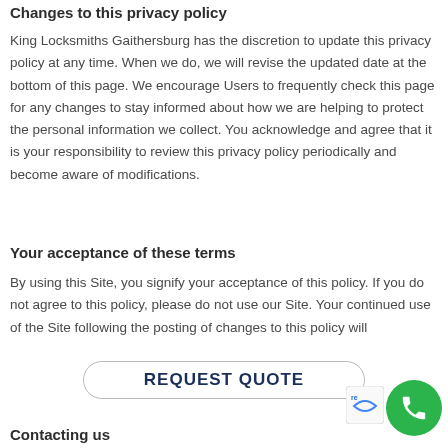Changes to this privacy policy
King Locksmiths Gaithersburg has the discretion to update this privacy policy at any time. When we do, we will revise the updated date at the bottom of this page. We encourage Users to frequently check this page for any changes to stay informed about how we are helping to protect the personal information we collect. You acknowledge and agree that it is your responsibility to review this privacy policy periodically and become aware of modifications.
Your acceptance of these terms
By using this Site, you signify your acceptance of this policy. If you do not agree to this policy, please do not use our Site. Your continued use of the Site following the posting of changes to this policy will
REQUEST QUOTE
Contacting us